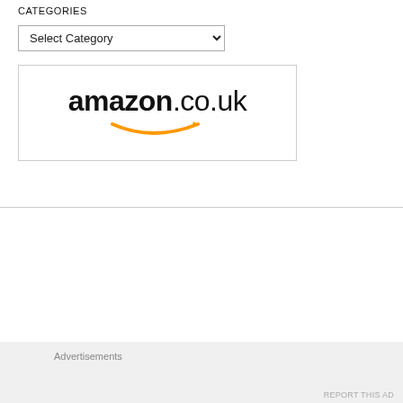CATEGORIES
Select Category
[Figure (logo): Amazon.co.uk logo with orange arrow smile underneath the text]
We use cookies on our website to give you the most relevant experience by remembering your preferences and repeat visits. By clicking “Accept All”, you consent to the use of ALL the cookies. However, you may visit "Cookie Settings" to provide a controlled consent.
Advertisements
REPORT THIS AD